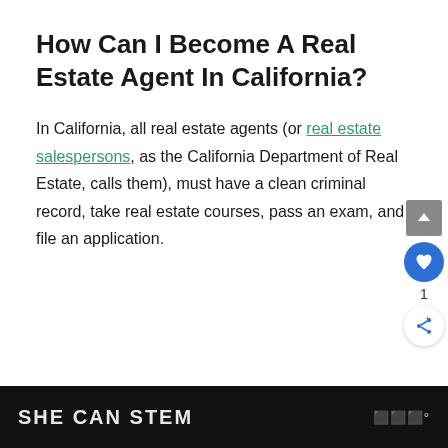How Can I Become A Real Estate Agent In California?
In California, all real estate agents (or real estate salespersons, as the California Department of Real Estate, calls them), must have a clean criminal record, take real estate courses, pass an exam, and file an application.
SHE CAN STEM